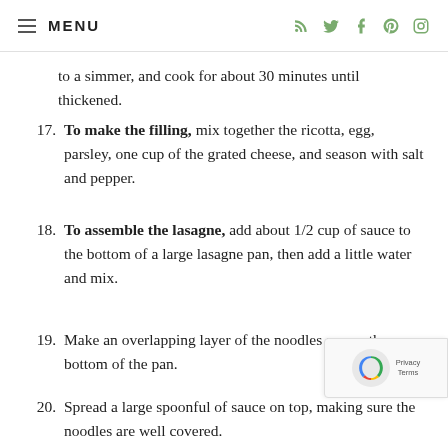≡ MENU
to a simmer, and cook for about 30 minutes until thickened.
17. To make the filling, mix together the ricotta, egg, parsley, one cup of the grated cheese, and season with salt and pepper.
18. To assemble the lasagne, add about 1/2 cup of sauce to the bottom of a large lasagne pan, then add a little water and mix.
19. Make an overlapping layer of the noodles across the bottom of the pan.
20. Spread a large spoonful of sauce on top, making sure the noodles are well covered.
21. Add one more layer of noodles and sauce, and then add a layer of the ricotta mixture and mozzarella slices.
22. Continue in this manner until you have 5 layers